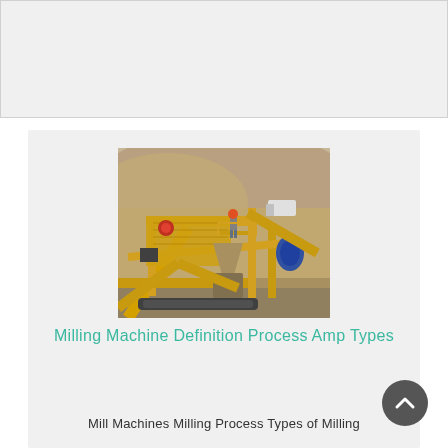[Figure (photo): Gray banner / header area at top of page]
[Figure (photo): Industrial milling/crushing machine at a mining site. Large yellow steel frame structure with conveyor belts, a worker standing on top, and a cone crusher in the center. Rocky terrain visible in background.]
Milling Machine Definition Process Amp Types
Mill Machines Milling Process Types of Milling